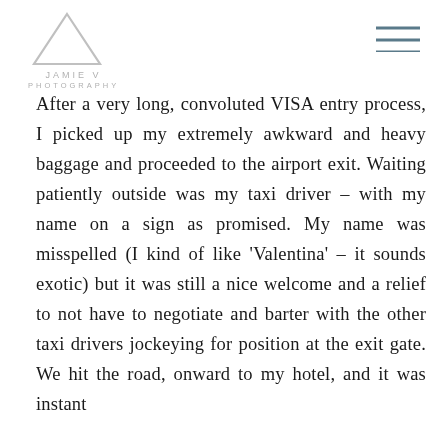JAMIE V PHOTOGRAPHY
After a very long, convoluted VISA entry process, I picked up my extremely awkward and heavy baggage and proceeded to the airport exit. Waiting patiently outside was my taxi driver – with my name on a sign as promised. My name was misspelled (I kind of like 'Valentina' – it sounds exotic) but it was still a nice welcome and a relief to not have to negotiate and barter with the other taxi drivers jockeying for position at the exit gate. We hit the road, onward to my hotel, and it was instant